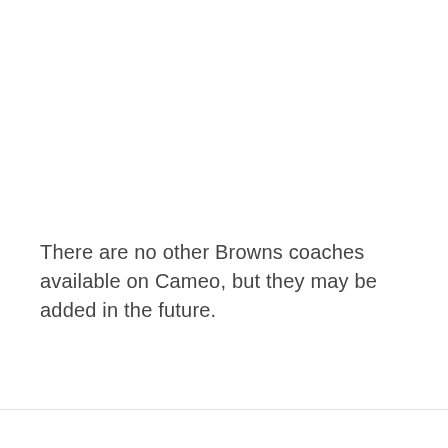There are no other Browns coaches available on Cameo, but they may be added in the future.